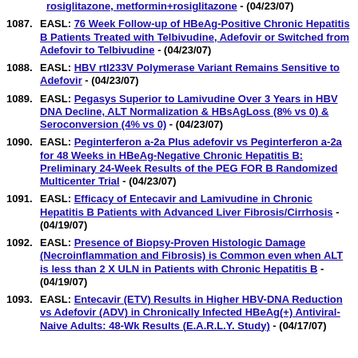rosiglitazone, metformin+rosiglitazone - (04/23/07)
1087. EASL: 76 Week Follow-up of HBeAg-Positive Chronic Hepatitis B Patients Treated with Telbivudine, Adefovir or Switched from Adefovir to Telbivudine - (04/23/07)
1088. EASL: HBV rtI233V Polymerase Variant Remains Sensitive to Adefovir - (04/23/07)
1089. EASL: Pegasys Superior to Lamivudine Over 3 Years in HBV DNA Decline, ALT Normalization & HBsAgLoss (8% vs 0) & Seroconversion (4% vs 0) - (04/23/07)
1090. EASL: Peginterferon a-2a Plus adefovir vs Peginterferon a-2a for 48 Weeks in HBeAg-Negative Chronic Hepatitis B: Preliminary 24-Week Results of the PEG FOR B Randomized Multicenter Trial - (04/23/07)
1091. EASL: Efficacy of Entecavir and Lamivudine in Chronic Hepatitis B Patients with Advanced Liver Fibrosis/Cirrhosis - (04/19/07)
1092. EASL: Presence of Biopsy-Proven Histologic Damage (Necroinflammation and Fibrosis) is Common even when ALT is less than 2 X ULN in Patients with Chronic Hepatitis B - (04/19/07)
1093. EASL: Entecavir (ETV) Results in Higher HBV-DNA Reduction vs Adefovir (ADV) in Chronically Infected HBeAg(+) Antiviral-Naive Adults: 48-Wk Results (E.A.R.L.Y. Study) - (04/17/07)